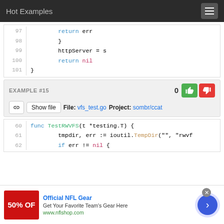Hot Examples
[Figure (screenshot): Code snippet showing lines 97-101 with return err, closing brace, httpServer = s, return nil, closing brace]
EXAMPLE #15
File: vfs_test.go  Project: sombr/ccat
[Figure (screenshot): Code snippet showing lines 60-62: func TestRWVFS, tmpdir err := ioutil.TempDir, if err != nil {]